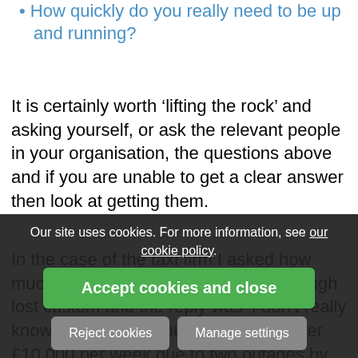How quickly do you really need to be up and running?
It is certainly worth ‘lifting the rock’ and asking yourself, or ask the relevant people in your organisation, the questions above and if you are unable to get a clear answer then look at getting them.
In the case of the taxi firm I asked how much revenue they think they lost through lost custom and the reply was ‘I don’t really know’. I suspect it could have been over £10,000 per week due to two outages by BT last week.
The first step to take is to check to see if they do have a Business Continuity Plan… whether this is in the place of work or work from home, it is all the same
Our site uses cookies. For more information, see our cookie policy.